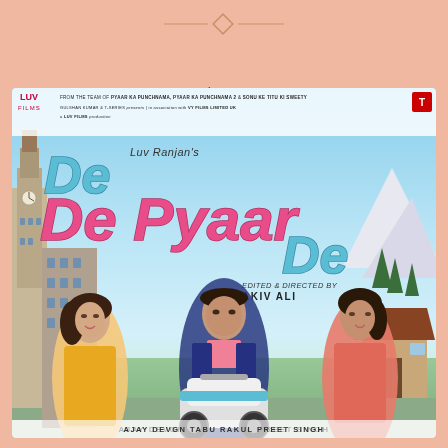April 17, 2021.
Reading time 6 minutes.
[Figure (photo): Movie poster for 'De De Pyaar De' directed by Akiv Ali, produced by Luv Ranjan. Features three characters on a scooter with London Big Ben on the left and Alpine scenery on the right. Title text in large colorful letters: 'Luv Ranjan's De De Pyaar De' with tagline 'Edited & Directed by Akiv Ali'. Production credits for Luv Films, T-Series, and Gulshan Kumar at top.]